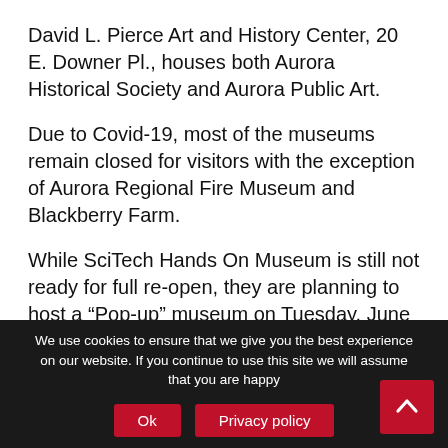David L. Pierce Art and History Center, 20 E. Downer Pl., houses both Aurora Historical Society and Aurora Public Art.
Due to Covid-19, most of the museums remain closed for visitors with the exception of Aurora Regional Fire Museum and Blackberry Farm.
While SciTech Hands On Museum is still not ready for full re-open, they are planning to host a “Pop-up” museum on Tuesday, June 8 from 1-4 p.m. They will have a couple of activity stations and demos outside of the museum at 18 W. Benton St.
We use cookies to ensure that we give you the best experience on our website. If you continue to use this site we will assume that you are happy  Ok  Privacy policy